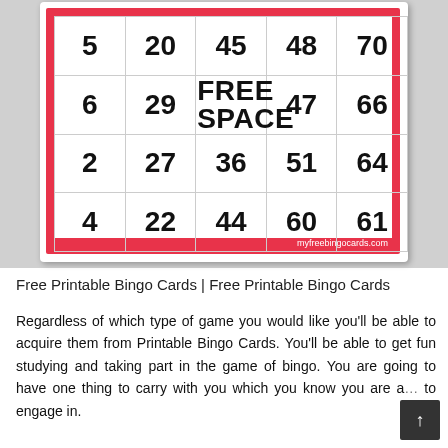[Figure (other): A bingo card with red border showing rows of numbers. Visible rows: 6, 29, FREE SPACE, 47, 66 | 2, 27, 36, 51, 64 | 4, 22, 44, 60, 61. Watermark: myfreebingocards.com]
Free Printable Bingo Cards | Free Printable Bingo Cards
Regardless of which type of game you would like you'll be able to acquire them from Printable Bingo Cards. You'll be able to get fun studying and taking part in the game of bingo. You are going to have one thing to carry with you which you know you are a... to engage in.